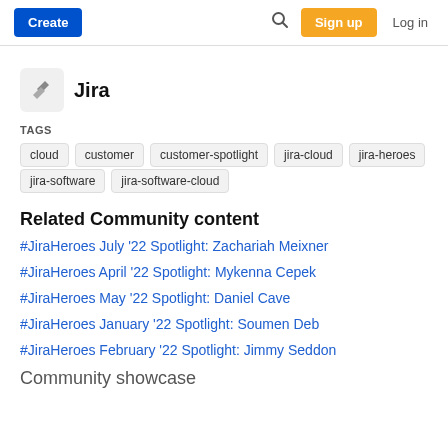Create  Sign up  Log in
Jira
TAGS
cloud
customer
customer-spotlight
jira-cloud
jira-heroes
jira-software
jira-software-cloud
Related Community content
#JiraHeroes July '22 Spotlight: Zachariah Meixner
#JiraHeroes April '22 Spotlight: Mykenna Cepek
#JiraHeroes May '22 Spotlight: Daniel Cave
#JiraHeroes January '22 Spotlight: Soumen Deb
#JiraHeroes February '22 Spotlight: Jimmy Seddon
Community showcase